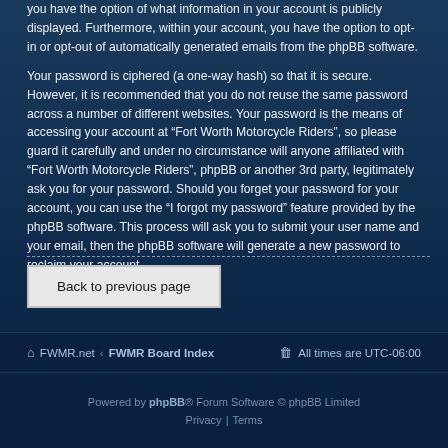you have the option of what information in your account is publicly displayed. Furthermore, within your account, you have the option to opt-in or opt-out of automatically generated emails from the phpBB software.
Your password is ciphered (a one-way hash) so that it is secure. However, it is recommended that you do not reuse the same password across a number of different websites. Your password is the means of accessing your account at “Fort Worth Motorcycle Riders”, so please guard it carefully and under no circumstance will anyone affiliated with “Fort Worth Motorcycle Riders”, phpBB or another 3rd party, legitimately ask you for your password. Should you forget your password for your account, you can use the “I forgot my password” feature provided by the phpBB software. This process will ask you to submit your user name and your email, then the phpBB software will generate a new password to reclaim your account.
Back to previous page
FWMR.net ‹ FWMR Board Index   All times are UTC-06:00
Powered by phpBB® Forum Software © phpBB Limited Privacy | Terms